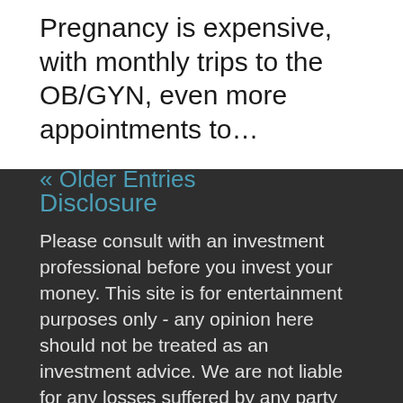Pregnancy is expensive, with monthly trips to the OB/GYN, even more appointments to…
« Older Entries
Disclosure
Please consult with an investment professional before you invest your money. This site is for entertainment purposes only - any opinion here should not be treated as an investment advice. We are not liable for any losses suffered by any party because of recommendations published on this blog. Past performance is not a guarantee of future